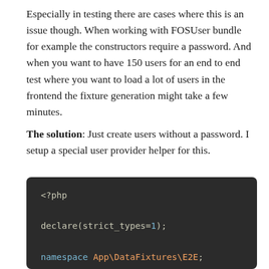Especially in testing there are cases where this is an issue though. When working with FOSUser bundle for example the constructors require a password. And when you want to have 150 users for an end to end test where you want to load a lot of users in the frontend the fixture generation might take a few minutes.
The solution: Just create users without a password. I setup a special user provider helper for this.
[Figure (screenshot): PHP code block on dark background showing: <?php, declare(strict_types=1);, namespace App\DataFixtures\E2E;, use App\Entity\User;]